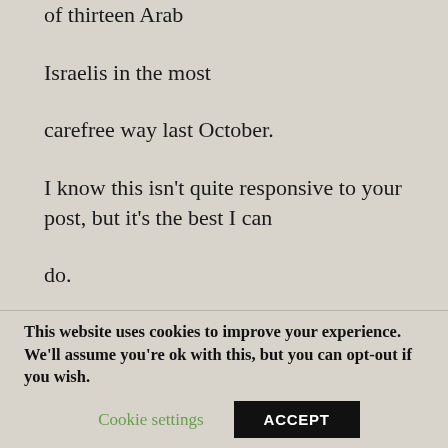of thirteen Arab

Israelis in the most

carefree way last October.

I know this isn’t quite responsive to your post, but it’s the best I can

do.

RLA
This website uses cookies to improve your experience. We’ll assume you’re ok with this, but you can opt-out if you wish.
Cookie settings
ACCEPT